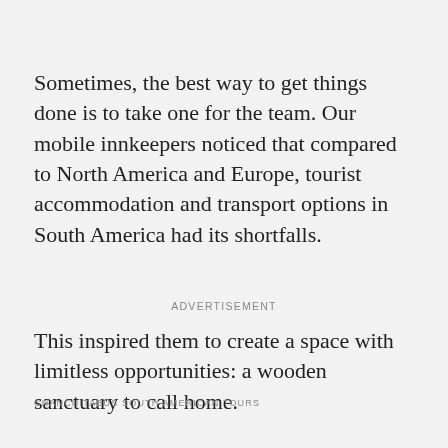Sometimes, the best way to get things done is to take one for the team. Our mobile innkeepers noticed that compared to North America and Europe, tourist accommodation and transport options in South America had its shortfalls.
ADVERTISEMENT
This inspired them to create a space with limitless opportunities: a wooden sanctuary to call home.
CHANCHITABUS SOUTH AMERICAN TOURS